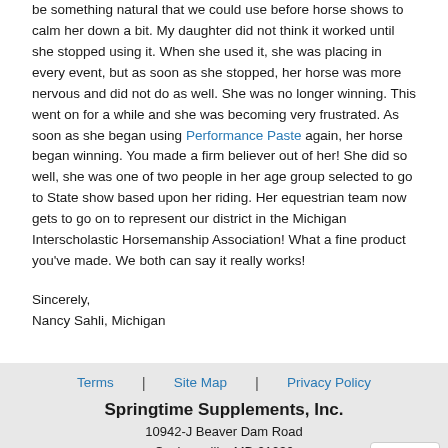be something natural that we could use before horse shows to calm her down a bit. My daughter did not think it worked until she stopped using it. When she used it, she was placing in every event, but as soon as she stopped, her horse was more nervous and did not do as well. She was no longer winning. This went on for a while and she was becoming very frustrated. As soon as she began using Performance Paste again, her horse began winning. You made a firm believer out of her! She did so well, she was one of two people in her age group selected to go to State show based upon her riding. Her equestrian team now gets to go on to represent our district in the Michigan Interscholastic Horsemanship Association! What a fine product you've made. We both can say it really works!
Sincerely,
Nancy Sahli, Michigan
Terms | Site Map | Privacy Policy
Springtime Supplements, Inc.
10942-J Beaver Dam Road
Cockeysville, MD 21030
Email
feedback@springtime.com
Call Us Toll Free
800.521.3212
©2022 Springtime Supplements, Inc. All R... TrustedSite